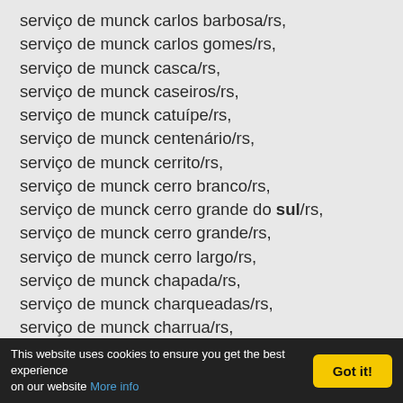serviço de munck carlos barbosa/rs,
serviço de munck carlos gomes/rs,
serviço de munck casca/rs,
serviço de munck caseiros/rs,
serviço de munck catuípe/rs,
serviço de munck centenário/rs,
serviço de munck cerrito/rs,
serviço de munck cerro branco/rs,
serviço de munck cerro grande do sul/rs,
serviço de munck cerro grande/rs,
serviço de munck cerro largo/rs,
serviço de munck chapada/rs,
serviço de munck charqueadas/rs,
serviço de munck charrua/rs,
serviço de munck chiapetta/rs,
serviço de munck chuí/rs,
serviço de munck chuvisca/rs,
serviço de munck cidreira/rs,
This website uses cookies to ensure you get the best experience on our website More info | Got it!